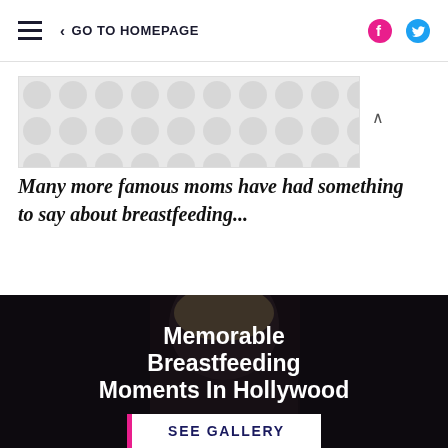≡  < GO TO HOMEPAGE  [facebook] [twitter]
[Figure (other): Decorative advertisement banner with grey bubble/dot pattern background]
Many more famous moms have had something to say about breastfeeding...
[Figure (photo): Dark photo of a blonde woman smiling, with overlay text 'Memorable Breastfeeding Moments In Hollywood' and a 'SEE GALLERY' button]